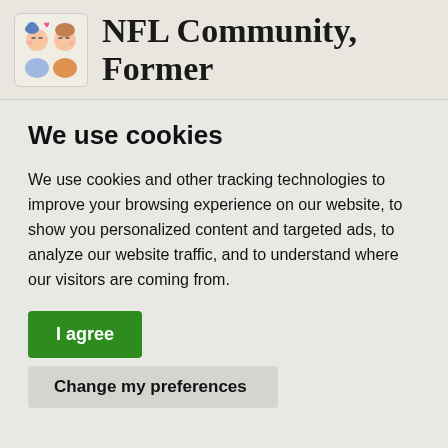NFL Community, Former
We use cookies
We use cookies and other tracking technologies to improve your browsing experience on our website, to show you personalized content and targeted ads, to analyze our website traffic, and to understand where our visitors are coming from.
I agree
Change my preferences